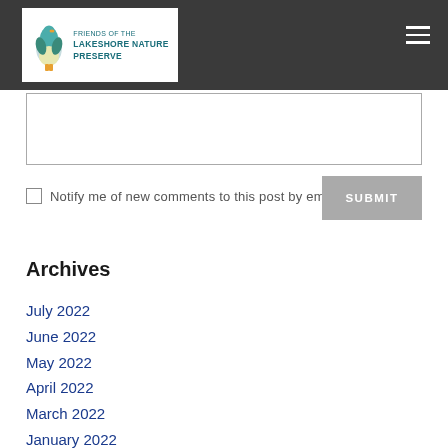Friends of the Lakeshore Nature Preserve
Notify me of new comments to this post by email
SUBMIT
Archives
July 2022
June 2022
May 2022
April 2022
March 2022
January 2022
December 2021